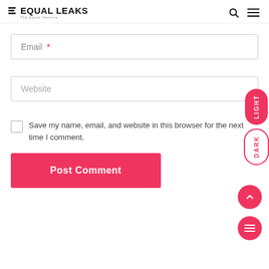EQUAL LEAKS — The Equal Venture
Email *
Website
Save my name, email, and website in this browser for the next time I comment.
Post Comment